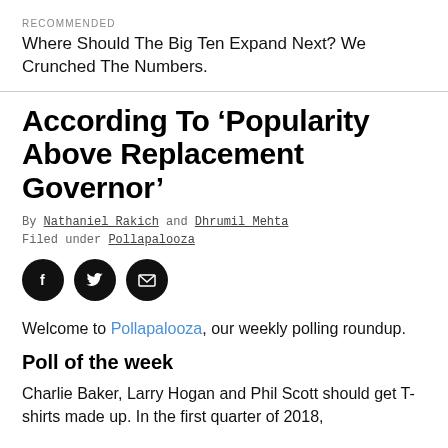RECOMMENDED
Where Should The Big Ten Expand Next? We Crunched The Numbers.
According To ‘Popularity Above Replacement Governor’
By Nathaniel Rakich and Dhrumil Mehta
Filed under Pollapalooza
[Figure (other): Three circular social media share icons: Facebook (f), Twitter (bird), and Email (envelope), black circles with white icons]
Welcome to Pollapalooza, our weekly polling roundup.
Poll of the week
Charlie Baker, Larry Hogan and Phil Scott should get T-shirts made up. In the first quarter of 2018,